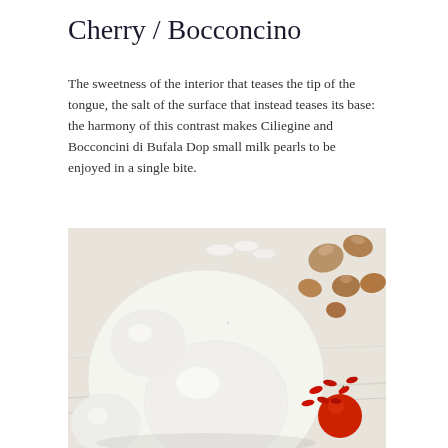Cherry / Bocconcino
The sweetness of the interior that teases the tip of the tongue, the salt of the surface that instead teases its base: the harmony of this contrast makes Ciliegine and Bocconcini di Bufala Dop small milk pearls to be enjoyed in a single bite.
[Figure (photo): A white ceramic speckled plate holding large white mozzarella balls and smaller pieces on a light wooden surface, with hazelnuts/nuts scattered in the upper right, and cherry tomatoes and goji berries in the lower right corner.]